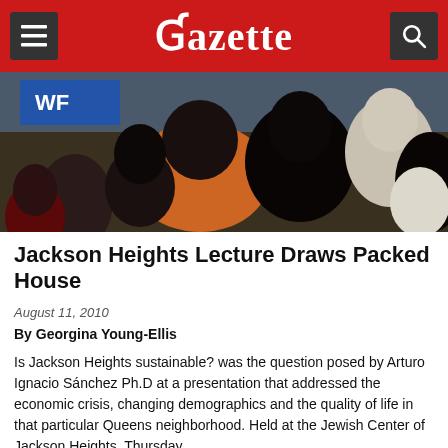Gazette
[Figure (photo): Overhead/rear view of a packed audience at a lecture event, people seated close together viewed from behind, indoor venue with blue banners visible]
Jackson Heights Lecture Draws Packed House
August 11, 2010
By Georgina Young-Ellis
Is Jackson Heights sustainable? was the question posed by Arturo Ignacio Sánchez Ph.D at a presentation that addressed the economic crisis, changing demographics and the quality of life in that particular Queens neighborhood. Held at the Jewish Center of Jackson Heights, Thursday